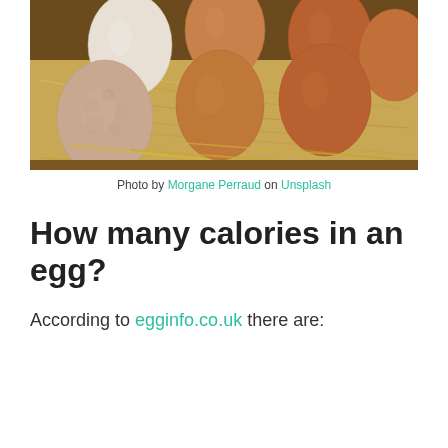[Figure (photo): A box of brown and white eggs nestled in straw/hay packing material, viewed from above]
Photo by Morgane Perraud on Unsplash
How many calories in an egg?
According to egginfo.co.uk there are: